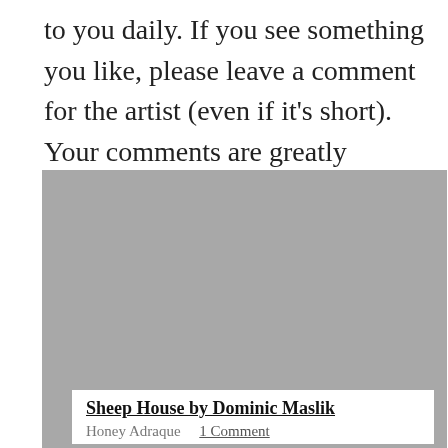to you daily. If you see something you like, please leave a comment for the artist (even if it's short). Your comments are greatly appreciated by the artists.
[Figure (photo): A gray rectangular image placeholder, likely an artwork image for 'Sheep House by Dominic Maslik']
Sheep House by Dominic Maslik
Honey Adraque    1 Comment